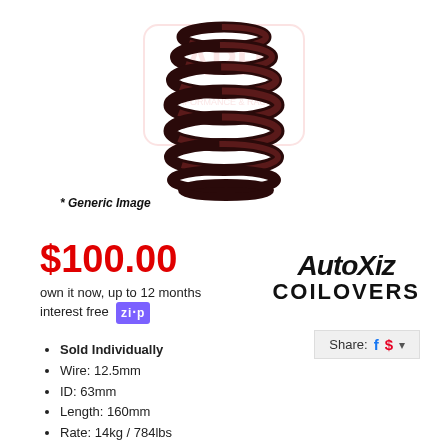[Figure (photo): Photo of a dark maroon/black coil spring (coilover spring) with APR Performance & Racing watermark logo in background. Generic product image.]
* Generic Image
$100.00
own it now, up to 12 months interest free  ZIP
[Figure (logo): AutoXiz Coilovers brand logo in stylized graffiti-style text]
Share: [Facebook icon] [Pinterest icon] ▼
Sold Individually
Wire: 12.5mm
ID: 63mm
Length: 160mm
Rate: 14kg / 784lbs